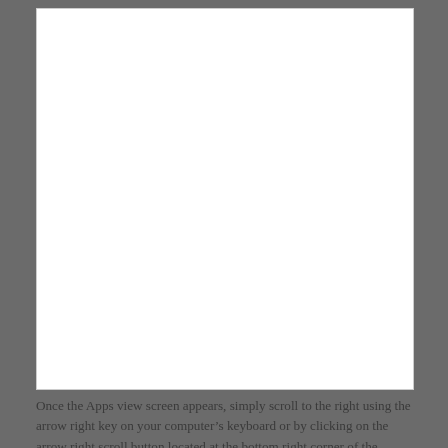[Figure (screenshot): A blank white rectangle representing a screenshot placeholder of an Apps view screen on a computer.]
Once the Apps view screen appears, simply scroll to the right using the arrow right key on your computer’s keyboard or by clicking on the arrow right scroll button located at the bottom right corner of the